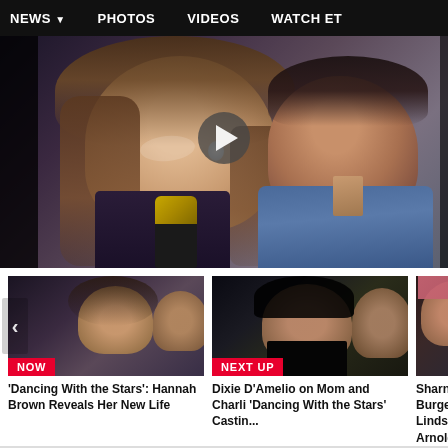NEWS  PHOTOS  VIDEOS  WATCH ET
[Figure (screenshot): Main video thumbnail showing a smiling woman and a man being interviewed, with a play button overlay in the center]
[Figure (screenshot): Video card 1 (NOW): 'Dancing With the Stars': Hannah Brown Reveals Her New Life]
'Dancing With the Stars': Hannah Brown Reveals Her New Life
[Figure (screenshot): Video card 2 (NEXT UP): Dixie D'Amelio on Mom and Charli 'Dancing With the Stars' Castin...]
Dixie D'Amelio on Mom and Charli 'Dancing With the Stars' Castin...
[Figure (screenshot): Video card 3 (partially visible): Sharna Burgess and Lindsay Arnold E... 'Dancing With the...]
Sharna Burgess a... Lindsay Arnold E... 'Dancing With the...